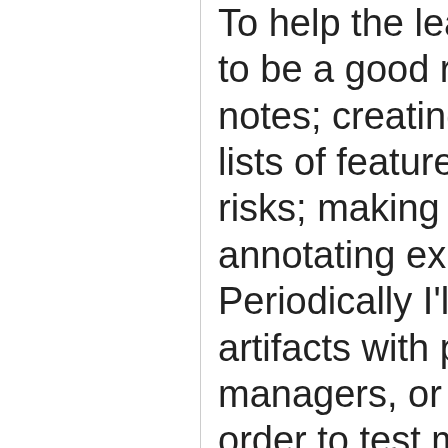To help the learning stick, I aspire to be a good researcher: taking notes; creating diagrams; building lists of features, functions, and risks; making mind maps; annotating existing documentation. Periodically I'll review these artifacts with programmers, managers, or other colleagues, in order to test my learning.
Irrespective of where I've started, I'll iterate and go deeper, testing the